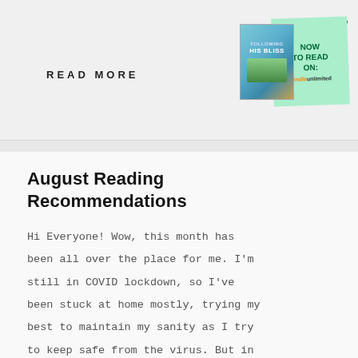READ MORE
[Figure (illustration): Book cover for 'Following His Bliss' shown as a polaroid-style image alongside a teal sticky note reading 'NOW TO READ ON:' with Kindle Unlimited branding, and a three-dot menu icon in the top right corner.]
August Reading Recommendations
Hi Everyone! Wow, this month has been all over the place for me. I'm still in COVID lockdown, so I've been stuck at home mostly, trying my best to maintain my sanity as I try to keep safe from the virus. But in